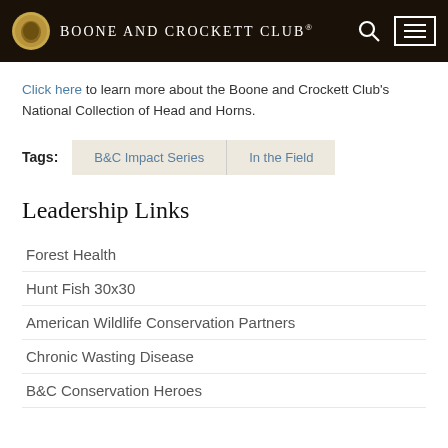Boone and Crockett Club®
Click here to learn more about the Boone and Crockett Club's National Collection of Head and Horns.
Tags: B&C Impact Series | In the Field
Leadership Links
Forest Health
Hunt Fish 30x30
American Wildlife Conservation Partners
Chronic Wasting Disease
B&C Conservation Heroes